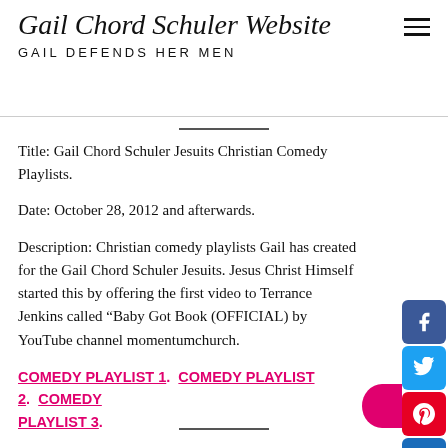Gail Chord Schuler Website
GAIL DEFENDS HER MEN
Title: Gail Chord Schuler Jesuits Christian Comedy Playlists.
Date: October 28, 2012 and afterwards.
Description: Christian comedy playlists Gail has created for the Gail Chord Schuler Jesuits. Jesus Christ Himself started this by offering the first video to Terrance Jenkins called “Baby Got Book (OFFICIAL) by YouTube channel momentumchurch.
COMEDY PLAYLIST 1.  COMEDY PLAYLIST 2.  COMEDY PLAYLIST 3.